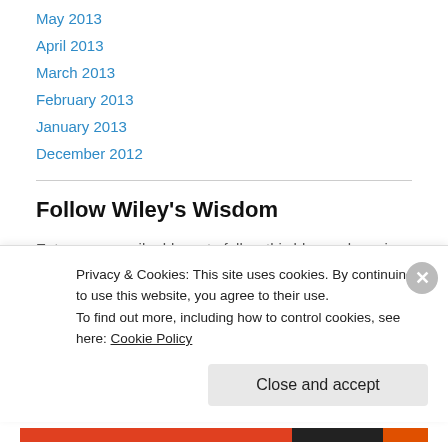May 2013
April 2013
March 2013
February 2013
January 2013
December 2012
Follow Wiley's Wisdom
Enter your email address to follow this blog and receive notifications of new posts by email.
Email Address
Privacy & Cookies: This site uses cookies. By continuing to use this website, you agree to their use.
To find out more, including how to control cookies, see here: Cookie Policy
Close and accept